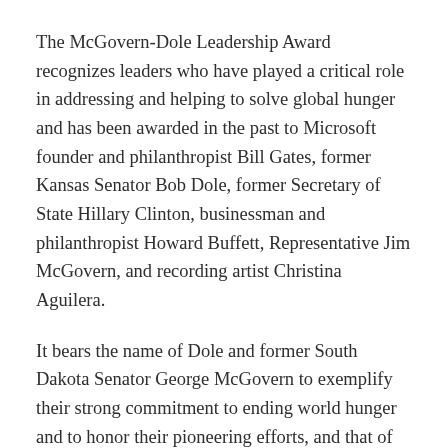The McGovern-Dole Leadership Award recognizes leaders who have played a critical role in addressing and helping to solve global hunger and has been awarded in the past to Microsoft founder and philanthropist Bill Gates, former Kansas Senator Bob Dole, former Secretary of State Hillary Clinton, businessman and philanthropist Howard Buffett, Representative Jim McGovern, and recording artist Christina Aguilera.
It bears the name of Dole and former South Dakota Senator George McGovern to exemplify their strong commitment to ending world hunger and to honor their pioneering efforts, and that of others, to feed the hungry. Dole, a Republican, and McGovern, a Democrat, worked across party lines, putting partisanship aside for the shared purpose of feeding the world's most vulnerable people, World Food Program USA says on its website.